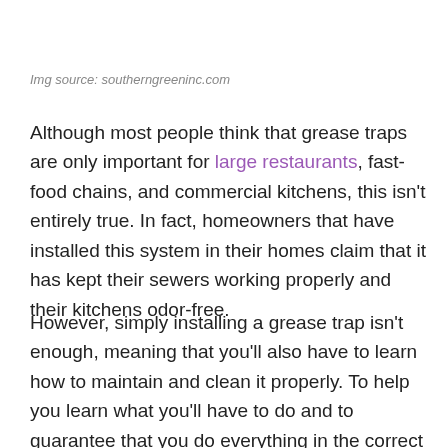Img source: southerngreeninc.com
Although most people think that grease traps are only important for large restaurants, fast-food chains, and commercial kitchens, this isn't entirely true. In fact, homeowners that have installed this system in their homes claim that it has kept their sewers working properly and their kitchens odor-free.
However, simply installing a grease trap isn't enough, meaning that you'll also have to learn how to maintain and clean it properly. To help you learn what you'll have to do and to guarantee that you do everything in the correct way, here is a list of 10 grease trap upkeep tips and tricks all homeowners should know: